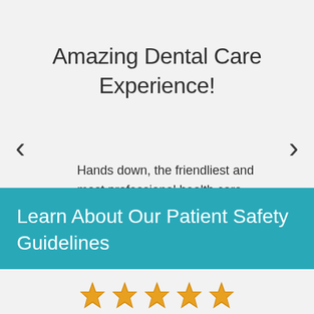Amazing Dental Care Experience!
Hands down, the friendliest and most professional health care clinic I've ever walked into - from check in to check out. The entire visit was perfect (and I very rarely speak in such superlatives). I constantly avoid the dentist but
Learn About Our Patient Safety Guidelines
[Figure (other): Five gold ribbon/bookmark star rating icons at the bottom of the page]